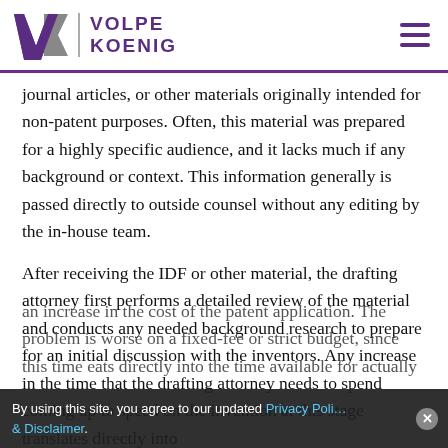Volpe Koenig
journal articles, or other materials originally intended for non-patent purposes. Often, this material was prepared for a highly specific audience, and it lacks much if any background or context. This information generally is passed directly to outside counsel without any editing by the in-house team.
After receiving the IDF or other material, the drafting attorney first performs a detailed review of the material and conducts any needed background research to prepare for an initial discussion with the inventors. Any increase in the time that the drafting attorney needs to spend coming up to speed on the invention at this stage translates directly into an increase in the cost of the patent application. The problem is worse on a fixed-fee or strict budget, since this time eats directly into the time available for actually
By using this site, you agree to our updated Privacy Policy & Disclaimer.